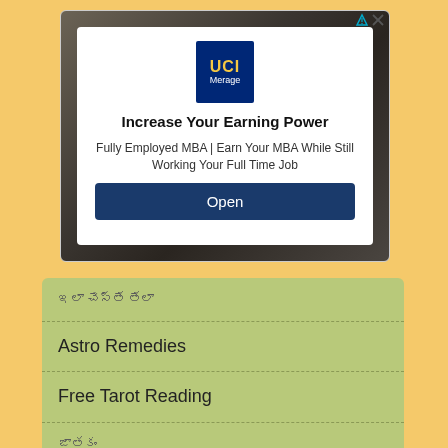[Figure (screenshot): UCI Merage School advertisement banner with logo, headline 'Increase Your Earning Power', subtext about Fully Employed MBA, and an Open button]
ఇలా చేస్తే తేలా
Astro Remedies
Free Tarot Reading
జాతకం